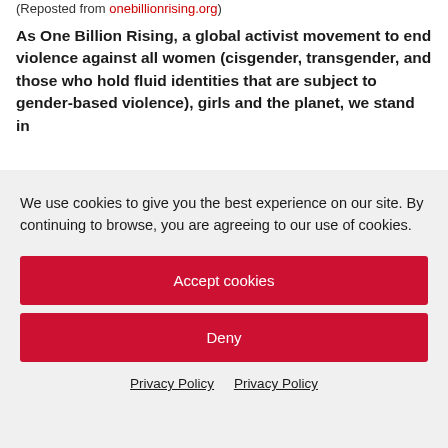(Reposted from onebillionrising.org)
As One Billion Rising, a global activist movement to end violence against all women (cisgender, transgender, and those who hold fluid identities that are subject to gender-based violence), girls and the planet, we stand in
We use cookies to give you the best experience on our site. By continuing to browse, you are agreeing to our use of cookies.
Accept cookies
Deny
Privacy Policy  Privacy Policy